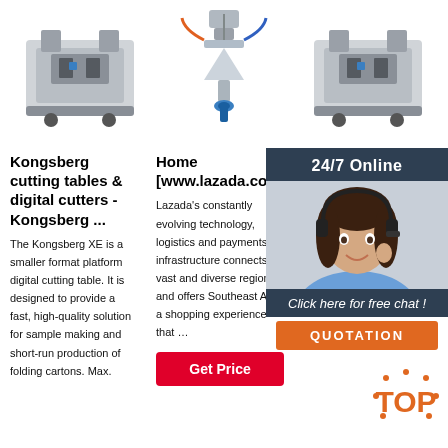[Figure (photo): Three product images: two industrial cutting/packaging machines on left and right, one CNC/engraving machine head in center, shown at top of page]
Kongsberg cutting tables & digital cutters - Kongsberg ...
The Kongsberg XE is a smaller format platform digital cutting table. It is designed to provide a fast, high-quality solution for sample making and short-run production of folding cartons. Max.
Home [www.lazada.com]
Lazada's constantly evolving technology, logistics and payments infrastructure connects this vast and diverse region, and offers Southeast Asia a shopping experience that …
[Figure (other): Get Price red button]
Mem…
2 days agou20… multi-i… groups… princip… TB/HI… South … Vaccin… (SATVI), which includes Mark Hatherill (Director), Tom Scriba (Deputy Director) and Elisa Nemes: The
[Figure (photo): Chat widget overlay: 24/7 Online banner, female customer service agent photo, Click here for free chat! text, QUOTATION orange button]
[Figure (logo): TOP badge in orange with dot pattern, bottom right corner]